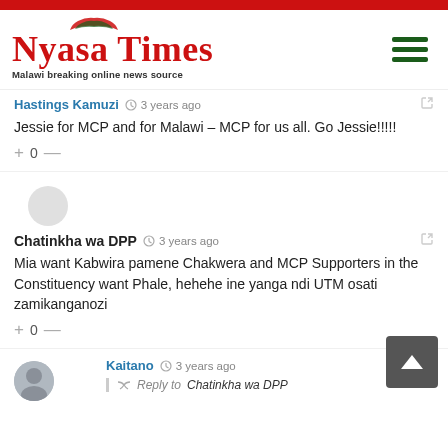[Figure (logo): Nyasa Times logo with tagline 'Malawi breaking online news source' and hamburger menu icon]
Hastings Kamuzi · 3 years ago
Jessie for MCP and for Malawi – MCP for us all. Go Jessie!!!!!
+0-
Chatinkha wa DPP · 3 years ago
Mia want Kabwira pamene Chakwera and MCP Supporters in the Constituency want Phale, hehehe ine yanga ndi UTM osati zamikanganozi
+0-
Kaitano · 3 years ago
Reply to Chatinkha wa DPP